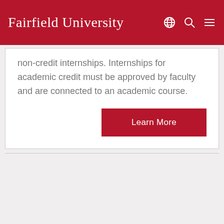Fairfield University
non-credit internships. Internships for academic credit must be approved by faculty and are connected to an academic course.
Learn More